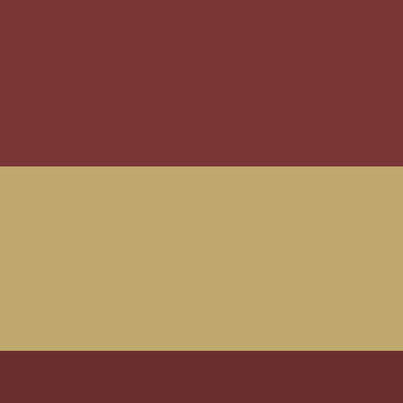[Figure (photo): Left half of page showing a room interior with reddish-brown upper and lower sections and a tan/khaki textured wall in the middle. A small shiny spherical object is visible at the bottom right of this panel.]
ADIDAS ORIGINALS Schu Taschen, Textilien, Uhren,
[Figure (photo): A blue and orange sneaker/trainer with green LED lights in the sole, shown against a white background. The shoe appears to be a children's light-up sneaker.]
[Gesponsert]Shinmax Früh
: Damen : Damen